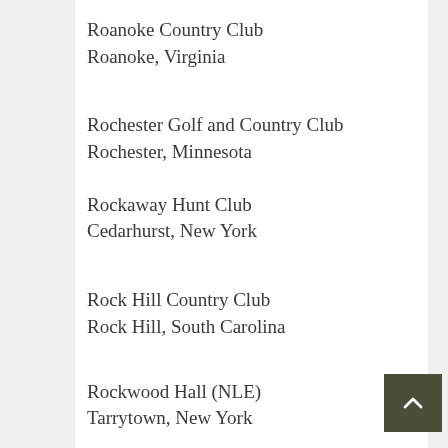Roanoke Country Club
Roanoke, Virginia
Rochester Golf and Country Club
Rochester, Minnesota
Rockaway Hunt Club
Cedarhurst, New York
Rock Hill Country Club
Rock Hill, South Carolina
Rockwood Hall (NLE)
Tarrytown, New York